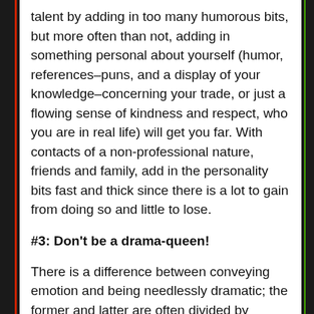talent by adding in too many humorous bits, but more often than not, adding in something personal about yourself (humor, references–puns, and a display of your knowledge–concerning your trade, or just a flowing sense of kindness and respect, who you are in real life) will get you far. With contacts of a non-professional nature, friends and family, add in the personality bits fast and thick since there is a lot to gain from doing so and little to lose.
#3: Don't be a drama-queen!
There is a difference between conveying emotion and being needlessly dramatic; the former and latter are often divided by necessity. Do you really need to link to a melodramatic alternative-rock ballad to illustrate how you feel? If the answer is